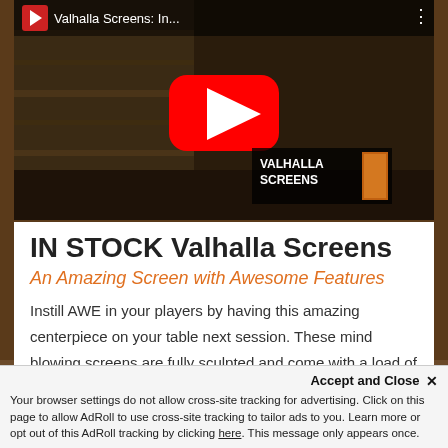[Figure (screenshot): YouTube video thumbnail for 'Valhalla Screens: In...' showing a dark wood-paneled room with a red YouTube play button in the center, and 'VALHALLA SCREENS' branding overlay in the bottom right corner.]
IN STOCK Valhalla Screens
An Amazing Screen with Awesome Features
Instill AWE in your players by having this amazing centerpiece on your table next session. These mind blowing screens are fully sculpted and come with a load of awesome features.
Accept and Close ✕
Your browser settings do not allow cross-site tracking for advertising. Click on this page to allow AdRoll to use cross-site tracking to tailor ads to you. Learn more or opt out of this AdRoll tracking by clicking here. This message only appears once.